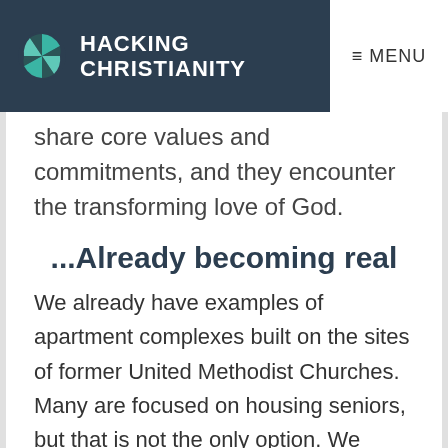HACKING CHRISTIANITY | MENU
share core values and commitments, and they encounter the transforming love of God.
...Already becoming real
We already have examples of apartment complexes built on the sites of former United Methodist Churches. Many are focused on housing seniors, but that is not the only option. We might dream of building communities for low-